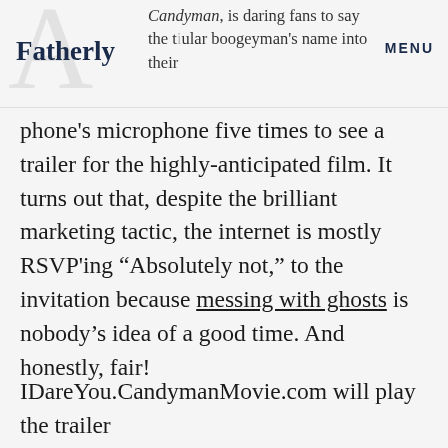Fatherly | MENU | Candyman, is daring fans to say the titular boogeyman's name into their
phone's microphone five times to see a trailer for the highly-anticipated film. It turns out that, despite the brilliant marketing tactic, the internet is mostly RSVP'ing “Absolutely not,” to the invitation because messing with ghosts is nobody’s idea of a good time. And honestly, fair!
ADVERTISEMENT
IDareYou.CandymanMovie.com will play the trailer